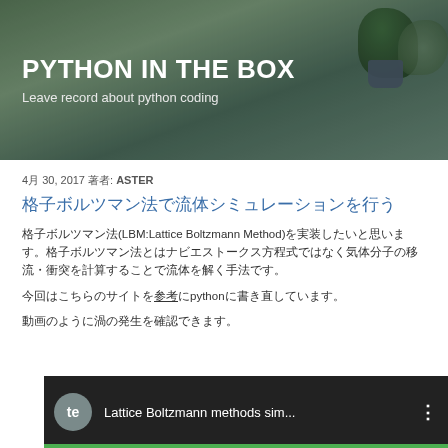PYTHON IN THE BOX
Leave record about python coding
4月 30, 2017 著者: ASTER
格子ボルツマン法で流体シミュレーションを行う
格子ボルツマン法(LBM:Lattice Boltzmann Method)を実装したいと思います。格子ボルツマン法とはナビエストークス方程式ではなく気体分子の移流・衝突を計算することで流体を解く手法です。
今回はこちらのサイトを参考にpythonに書き直しています。
動画のように渦の発生を確認できます。
[Figure (screenshot): YouTube video thumbnail showing 'Lattice Boltzmann methods sim...' with a circular avatar labeled 'te' and a green progress bar at the bottom.]